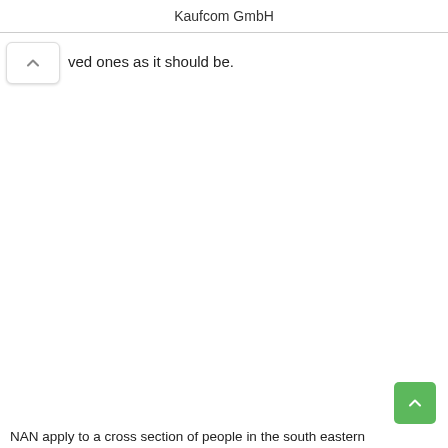Kaufcom GmbH
ved ones as it should be.
NAN apply to a cross section of people in the south eastern